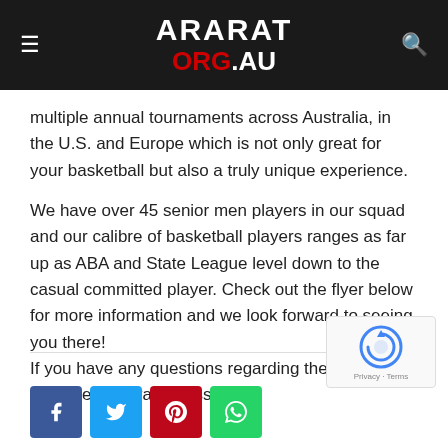ARARAT ORG.AU
multiple annual tournaments across Australia, in the U.S. and Europe which is not only great for your basketball but also a truly unique experience.
We have over 45 senior men players in our squad and our calibre of basketball players ranges as far up as ABA and State League level down to the casual committed player. Check out the flyer below for more information and we look forward to seeing you there! If you have any questions regarding the try outs, feel free to private message us
[Figure (logo): reCAPTCHA badge with spinning arrow icon and Privacy - Terms text]
[Figure (infographic): Social share buttons: Facebook (blue), Twitter (light blue), Pinterest (red), WhatsApp (green)]